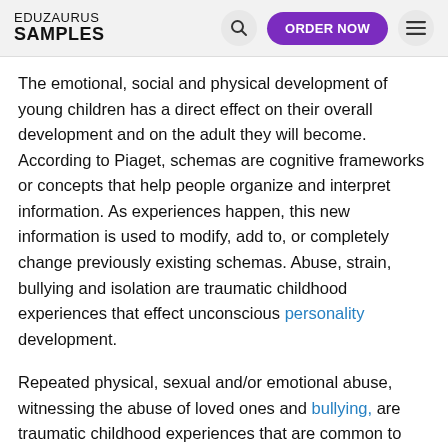EDUZAURUS SAMPLES | ORDER NOW
The emotional, social and physical development of young children has a direct effect on their overall development and on the adult they will become. According to Piaget, schemas are cognitive frameworks or concepts that help people organize and interpret information. As experiences happen, this new information is used to modify, add to, or completely change previously existing schemas. Abuse, strain, bullying and isolation are traumatic childhood experiences that effect unconscious personality development.
Repeated physical, sexual and/or emotional abuse, witnessing the abuse of loved ones and bullying, are traumatic childhood experiences that are common to most killers. In an idealistic setting, victims of such experiences would attend counseling and learn to overcome their traumatic experiences. Victims who experience physical